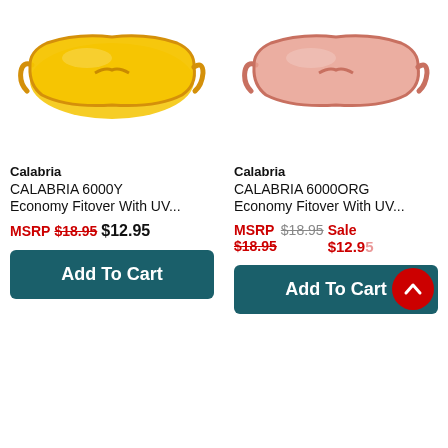[Figure (photo): Yellow wraparound safety/fitover sunglasses (Calabria 6000Y) on white background]
[Figure (photo): Orange/peach wraparound safety/fitover sunglasses (Calabria 6000ORG) on white background]
Calabria
CALABRIA 6000Y Economy Fitover With UV...
MSRP $18.95  $12.95
Add To Cart
Calabria
CALABRIA 6000ORG Economy Fitover With UV...
MSRP $18.95  $18.95  Sale $12.95
Add To Cart